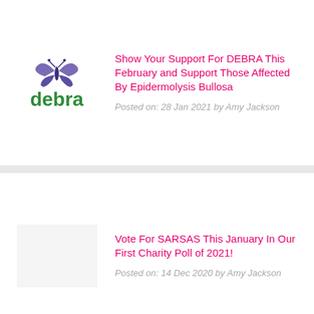[Figure (logo): DEBRA charity logo with purple butterfly and green 'debra' text]
Show Your Support For DEBRA This February and Support Those Affected By Epidermolysis Bullosa
Posted on: 28 Jan 2021 by Amy Jackson
Vote For SARSAS This January In Our First Charity Poll of 2021!
Posted on: 14 Dec 2020 by Amy Jackson
Vote For AFK This January